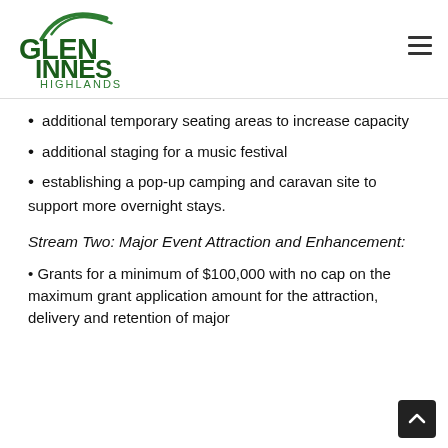[Figure (logo): Glen Innes Highlands council logo — green arching lines above 'GLEN INNES' in dark green bold capitals, with 'HIGHLANDS' in smaller green capitals below]
additional temporary seating areas to increase capacity
additional staging for a music festival
establishing a pop-up camping and caravan site to support more overnight stays.
Stream Two: Major Event Attraction and Enhancement:
Grants for a minimum of $100,000 with no cap on the maximum grant application amount for the attraction, delivery and retention of major international and domestic events at recognised